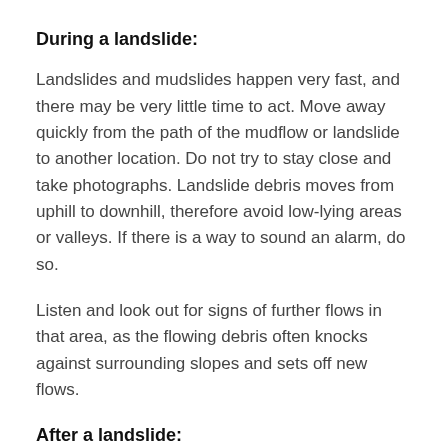During a landslide:
Landslides and mudslides happen very fast, and there may be very little time to act. Move away quickly from the path of the mudflow or landslide to another location. Do not try to stay close and take photographs. Landslide debris moves from uphill to downhill, therefore avoid low-lying areas or valleys. If there is a way to sound an alarm, do so.
Listen and look out for signs of further flows in that area, as the flowing debris often knocks against surrounding slopes and sets off new flows.
After a landslide: